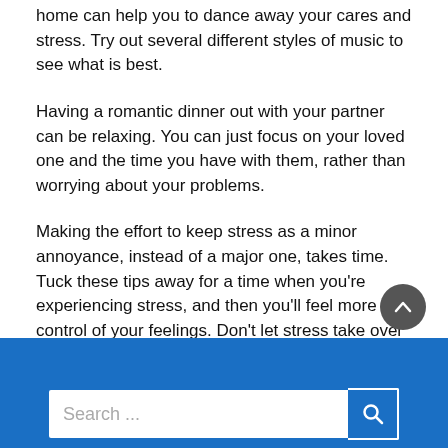home can help you to dance away your cares and stress. Try out several different styles of music to see what is best.
Having a romantic dinner out with your partner can be relaxing. You can just focus on your loved one and the time you have with them, rather than worrying about your problems.
Making the effort to keep stress as a minor annoyance, instead of a major one, takes time. Tuck these tips away for a time when you’re experiencing stress, and then you’ll feel more in control of your feelings. Don’t let stress take over your life; use these tips to deal with it.
Search ...